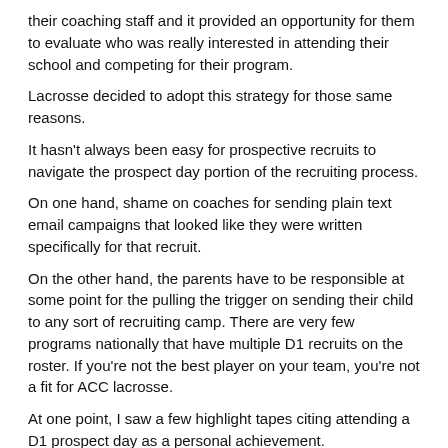their coaching staff and it provided an opportunity for them to evaluate who was really interested in attending their school and competing for their program.
Lacrosse decided to adopt this strategy for those same reasons.
It hasn't always been easy for prospective recruits to navigate the prospect day portion of the recruiting process.
On one hand, shame on coaches for sending plain text email campaigns that looked like they were written specifically for that recruit.
On the other hand, the parents have to be responsible at some point for the pulling the trigger on sending their child to any sort of recruiting camp. There are very few programs nationally that have multiple D1 recruits on the roster. If you're not the best player on your team, you're not a fit for ACC lacrosse.
At one point, I saw a few highlight tapes citing attending a D1 prospect day as a personal achievement.
Sure, there are late bloomers. Sure, if you have the financial means to go find out where you fit nationally instead of accepting obvious feedback, then go to a D1 prospect day.